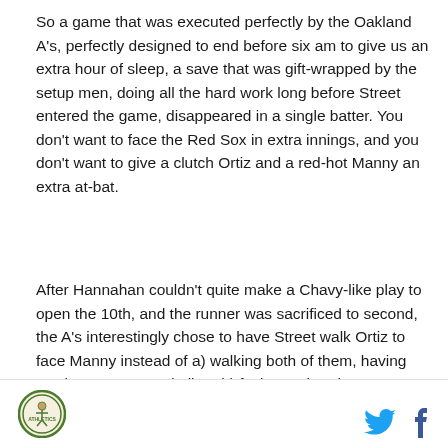So a game that was executed perfectly by the Oakland A's, perfectly designed to end before six am to give us an extra hour of sleep, a save that was gift-wrapped by the setup men, doing all the hard work long before Street entered the game, disappeared in a single batter. You don't want to face the Red Sox in extra innings, and you don't want to give a clutch Ortiz and a red-hot Manny an extra at-bat.
After Hannahan couldn't quite make a Chavy-like play to open the 10th, and the runner was sacrificed to second, the A's interestingly chose to have Street walk Ortiz to face Manny instead of a) walking both of them, having two bases open and all, or b) facing Ortiz, who was actually struggling at the plate. That decision
[Figure (logo): Circular logo with green border, sports team emblem]
[Figure (illustration): Twitter bird icon in blue and Facebook f icon in dark blue]